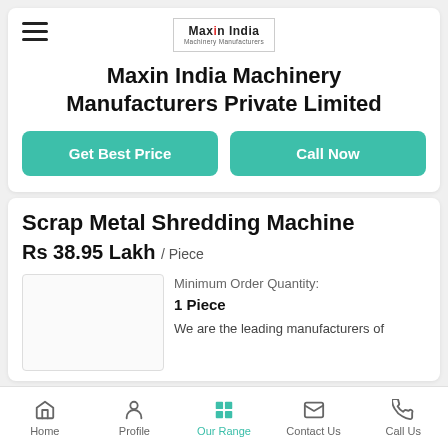[Figure (logo): Maxin India Machinery Manufacturers logo in a bordered box]
Maxin India Machinery Manufacturers Private Limited
Get Best Price
Call Now
Scrap Metal Shredding Machine
Rs 38.95 Lakh / Piece
Minimum Order Quantity: 1 Piece
We are the leading manufacturers of
Home   Profile   Our Range   Contact Us   Call Us